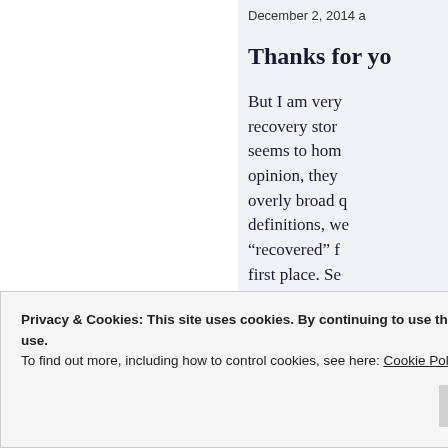December 2, 2014 a
Thanks for yo
But I am very recovery stor seems to hom opinion, they overly broad q definitions, we “recovered” f first place. Se a form of pati
Privacy & Cookies: This site uses cookies. By continuing to use this website, you agree to their use.
To find out more, including how to control cookies, see here: Cookie Policy
Close and accept